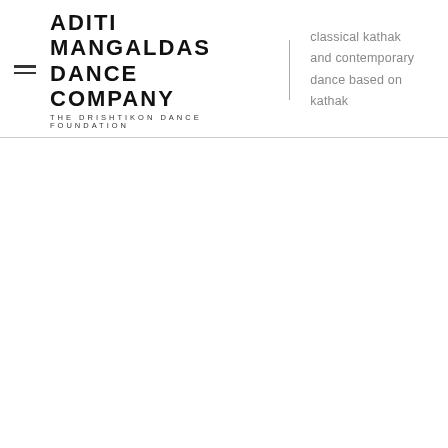ADITI MANGALDAS DANCE COMPANY THE DRISHTIKON DANCE FOUNDATION | classical kathak and contemporary dance based on kathak